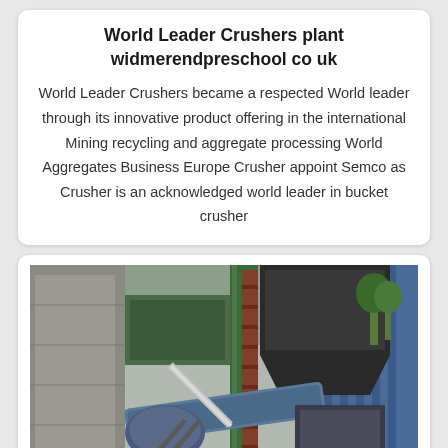World Leader Crushers plant widmerendpreschool co uk
World Leader Crushers became a respected World leader through its innovative product offering in the international Mining recycling and aggregate processing World Aggregates Business Europe Crusher appoint Semco as Crusher is an acknowledged world leader in bucket crusher
[Figure (photo): Industrial crusher plant machinery with metal ladders, conveyor belt, and heavy equipment in a concrete and corrugated metal structure]